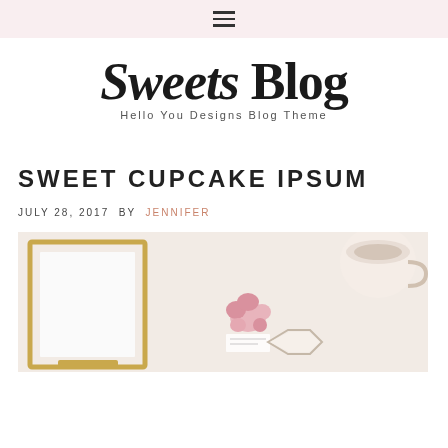≡
Sweets Blog
Hello You Designs Blog Theme
SWEET CUPCAKE IPSUM
JULY 28, 2017 BY JENNIFER
[Figure (photo): Flat lay photo of a gold geometric glass frame, a hexagonal glass tray, a small pink dried floral arrangement, and a cup of coffee/tea on a light background]